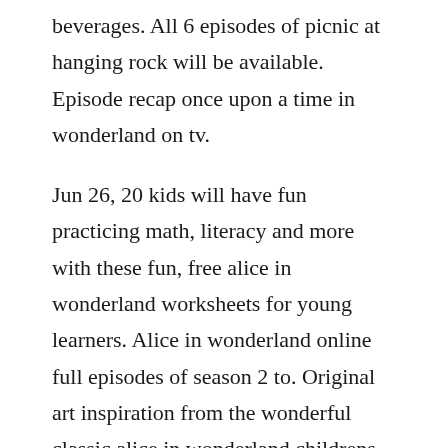beverages. All 6 episodes of picnic at hanging rock will be available. Episode recap once upon a time in wonderland on tv.
Jun 26, 20 kids will have fun practicing math, literacy and more with these fun, free alice in wonderland worksheets for young learners. Alice in wonderland online full episodes of season 2 to. Original art inspiration from the wonderful classic alice in wonderland childrens book. Wonderland thursday 22 december harlequin theatre, queen street, northwich cw9 5jn 10.